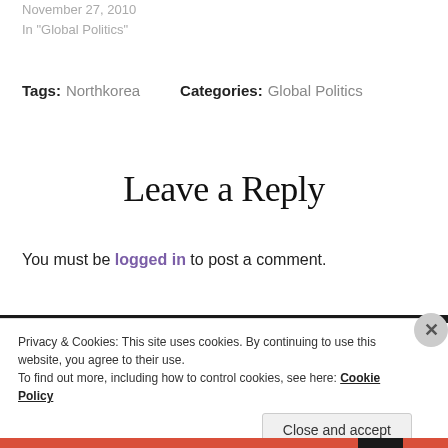November 27, 2010
In "Global Politics"
Tags: Northkorea   Categories: Global Politics
Leave a Reply
You must be logged in to post a comment.
Privacy & Cookies: This site uses cookies. By continuing to use this website, you agree to their use.
To find out more, including how to control cookies, see here: Cookie Policy
Close and accept